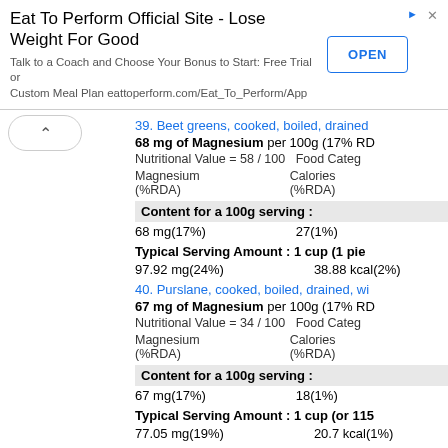[Figure (screenshot): Advertisement banner for Eat To Perform Official Site with OPEN button]
39. Beet greens, cooked, boiled, drained
68 mg of Magnesium per 100g (17% RD
Nutritional Value = 58 / 100   Food Categ
Magnesium (%RDA)   Calories (%RDA)
Content for a 100g serving :
68 mg(17%)   27(1%)
Typical Serving Amount : 1 cup (1 piec
97.92 mg(24%)   38.88 kcal(2%)
40. Purslane, cooked, boiled, drained, wi
67 mg of Magnesium per 100g (17% RD
Nutritional Value = 34 / 100   Food Categ
Magnesium (%RDA)   Calories (%RDA)
Content for a 100g serving :
67 mg(17%)   18(1%)
Typical Serving Amount : 1 cup (or 115
77.05 mg(19%)   20.7 kcal(1%)
Other Serving Size : 1 squash (or 431g
288.77 mg(72%)   77.58 kcal(4%)
41. Seaweed, agar, raw, Magnesium